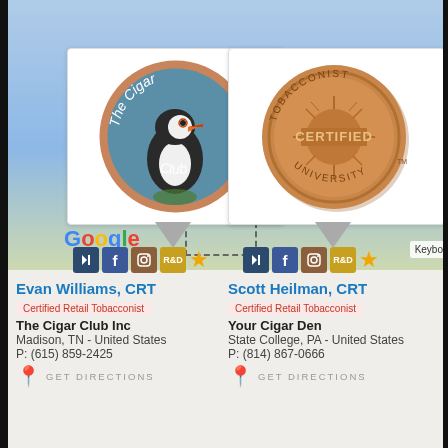[Figure (screenshot): Google Maps partial screenshot showing blue water/map area with Google logo and dashed selection box]
[Figure (logo): The Cigar Club Inc circular logo featuring a puffin bird on teal background with text 'The Cigar Club' around the edge]
[Figure (logo): Tobacconist University Certified bronze medallion coin logo]
Evan Williams, CRT
Certified Retail Tobacconist
The Cigar Club Inc
Madison, TN - United States
P: (615) 859-2425
GET DIRECTIONS
Scott Heilman, CRT
Certified Retail Tobacconist
Your Cigar Den
State College, PA - United States
P: (814) 867-0666
GET DIRECTIONS